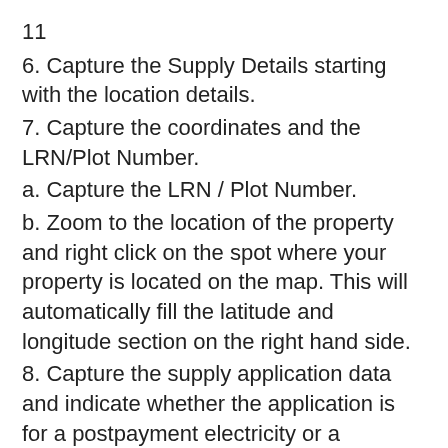11
6. Capture the Supply Details starting with the location details.
7. Capture the coordinates and the LRN/Plot Number.
a. Capture the LRN / Plot Number.
b. Zoom to the location of the property and right click on the spot where your property is located on the map. This will automatically fill the latitude and longitude section on the right hand side.
8. Capture the supply application data and indicate whether the application is for a postpayment electricity or a prepayment electricity.